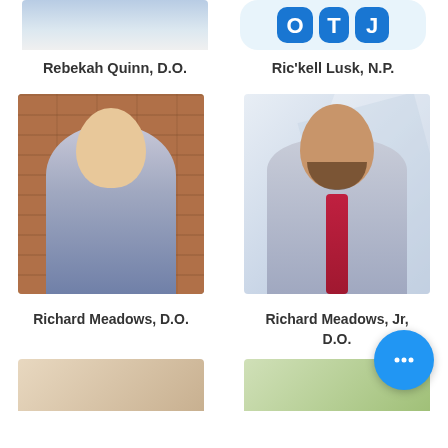[Figure (photo): Partial photo of Rebekah Quinn, D.O. (top cropped)]
Rebekah Quinn, D.O.
[Figure (logo): OTJ logo placeholder for Ric'kell Lusk, N.P.]
Ric'kell Lusk, N.P.
[Figure (photo): Photo of Richard Meadows, D.O. — older male physician with stethoscope, standing in front of brick wall]
Richard Meadows, D.O.
[Figure (photo): Photo of Richard Meadows, Jr, D.O. — younger male with beard, wearing suit and tie]
Richard Meadows, Jr, D.O.
[Figure (photo): Partial photo of another provider (bottom, cropped)]
[Figure (photo): Partial photo of another provider (bottom right, cropped)]